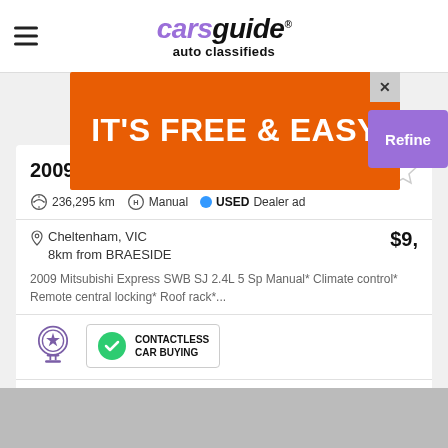carsguide auto classifieds
[Figure (screenshot): Orange advertisement banner with text IT'S FREE & EASY and a close (x) button]
2009
236,295 km  Manual  USED Dealer ad
Cheltenham, VIC
8km from BRAESIDE
$9,
2009 Mitsubishi Express SWB SJ 2.4L 5 Sp Manual* Climate control* Remote central locking* Roof rack*...
[Figure (logo): Award badge icon and Contactless Car Buying badge]
Check Availability